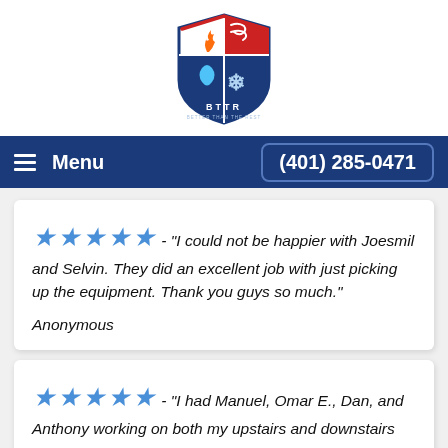[Figure (logo): BTTR - Better Than The Rest shield logo with fire, water, and restoration icons, red white and blue colors]
Menu   (401) 285-0471
★★★★★ - "I could not be happier with Joesmil and Selvin. They did an excellent job with just picking up the equipment. Thank you guys so much."
Anonymous
★★★★★ - "I had Manuel, Omar E., Dan, and Anthony working on both my upstairs and downstairs